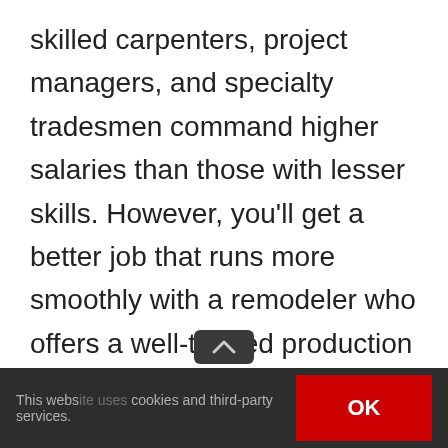skilled carpenters, project managers, and specialty tradesmen command higher salaries than those with lesser skills. However, you'll get a better job that runs more smoothly with a remodeler who offers a well-trained production team versus a remodeler who uses low-cost, unreliable, and less-skilled or inexperienced labor.

These practices are, in our opinion, misleading and shady if not downright unethical, but not
This website uses cookies and third-party services. OK